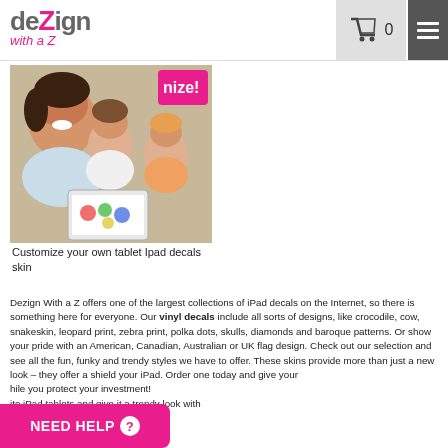dezign with a Z | Cart: 0
[Figure (photo): A smiling woman with two children holding a decorated tablet, with a customize badge overlay]
Customize your own tablet Ipad decals skin
Dezign With a Z offers one of the largest collections of iPad decals on the Internet, so there is something here for everyone. Our vinyl decals include all sorts of designs, like crocodile, cow, snakeskin, leopard print, zebra print, polka dots, skulls, diamonds and baroque patterns. Or show your pride with an American, Canadian, Australian or UK flag design. Check out our selection and see all the fun, funky and trendy styles we have to offer. These skins provide more than just a new look – they offer a [shield] your iPad. Order one today and give your [while] you protect your investment! [site iPad tablets and give it a trendy look with]
NEED HELP ?